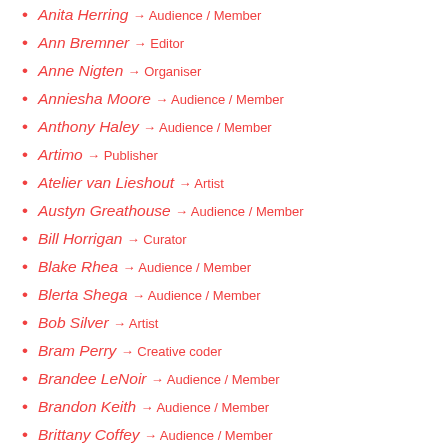Anita Herring → Audience / Member
Ann Bremner → Editor
Anne Nigten → Organiser
Anniesha Moore → Audience / Member
Anthony Haley → Audience / Member
Artimo → Publisher
Atelier van Lieshout → Artist
Austyn Greathouse → Audience / Member
Bill Horrigan → Curator
Blake Rhea → Audience / Member
Blerta Shega → Audience / Member
Bob Silver → Artist
Bram Perry → Creative coder
Brandee LeNoir → Audience / Member
Brandon Keith → Audience / Member
Brittany Coffey → Audience / Member